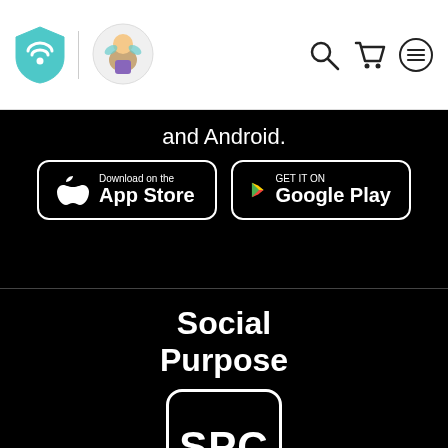[Figure (logo): Website header with wifi/book shield logo and fairy tale character logo on left, search, cart and menu icons on right]
and Android.
[Figure (screenshot): Download on the App Store button (Apple)]
[Figure (screenshot): GET IT ON Google Play button]
[Figure (logo): Social Purpose Corporation (SPC) logo with text 'Social Purpose' above a square badge reading 'SPC' and 'Corporation' below]